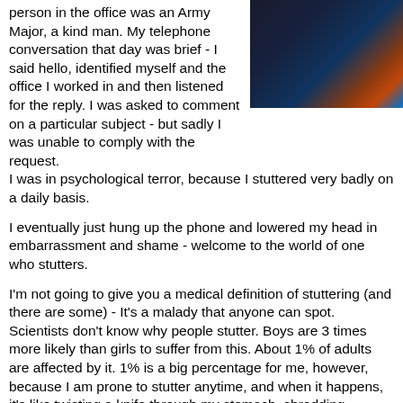person in the office was an Army Major, a kind man. My telephone conversation that day was brief - I said hello, identified myself and the office I worked in and then listened for the reply. I was asked to comment on a particular subject - but sadly I was unable to comply with the request.
[Figure (photo): A person wearing a dark jacket with an orange/red stripe or scarf visible, against a dark background with a hint of blue.]
I was in psychological terror, because I stuttered very badly on a daily basis.
I eventually just hung up the phone and lowered my head in embarrassment and shame - welcome to the world of one who stutters.
I'm not going to give you a medical definition of stuttering (and there are some) - It's a malady that anyone can spot. Scientists don't know why people stutter. Boys are 3 times more likely than girls to suffer from this. About 1% of adults are affected by it. 1% is a big percentage for me, however, because I am prone to stutter anytime, and when it happens, it's like twisting a knife through my stomach, shredding precious organs. That picture translated to stuttering means my self-esteem and self-worth have just